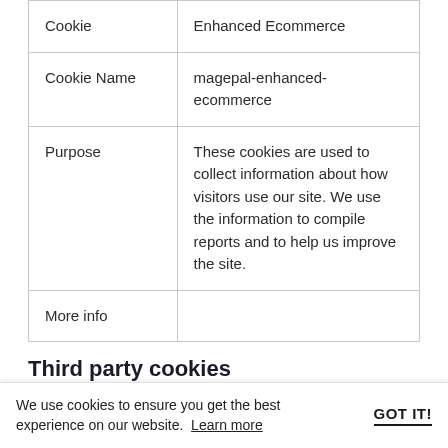| Cookie | Enhanced Ecommerce |
| --- | --- |
| Cookie Name | magepal-enhanced-ecommerce |
| Purpose | These cookies are used to collect information about how visitors use our site. We use the information to compile reports and to help us improve the site. |
| More info |  |
Third party cookies
We use cookies to ensure you get the best experience on our website.  Learn more